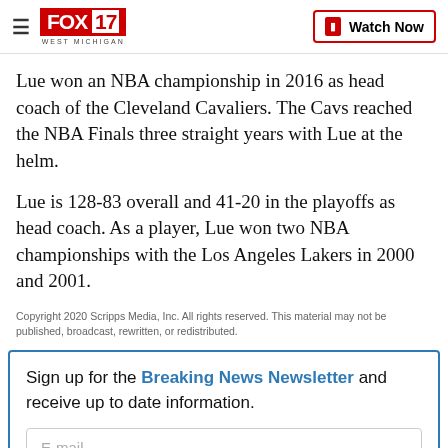FOX 17 WEST MICHIGAN | Watch Now
Lue won an NBA championship in 2016 as head coach of the Cleveland Cavaliers. The Cavs reached the NBA Finals three straight years with Lue at the helm.
Lue is 128-83 overall and 41-20 in the playoffs as head coach. As a player, Lue won two NBA championships with the Los Angeles Lakers in 2000 and 2001.
Copyright 2020 Scripps Media, Inc. All rights reserved. This material may not be published, broadcast, rewritten, or redistributed.
Sign up for the Breaking News Newsletter and receive up to date information.